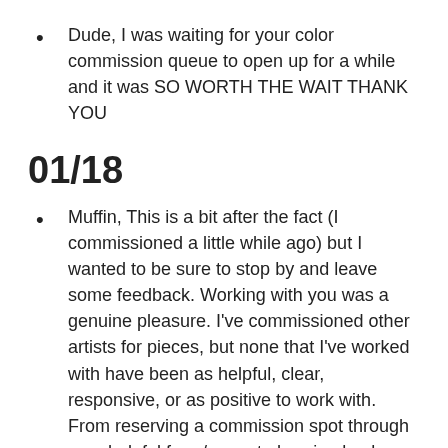Dude, I was waiting for your color commission queue to open up for a while and it was SO WORTH THE WAIT THANK YOU
01/18
Muffin, This is a bit after the fact (I commissioned a little while ago) but I wanted to be sure to stop by and leave some feedback. Working with you was a genuine pleasure. I've commissioned other artists for pieces, but none that I've worked with have been as helpful, clear, responsive, or as positive to work with. From reserving a commission spot through your helpful form/page, to hearing back from you via confirmation e-mail, to being given informative links instructing me how to complete payment, etc., each and every every step was handled professionally and with a great attitude. I felt excited about the work I had commissioned